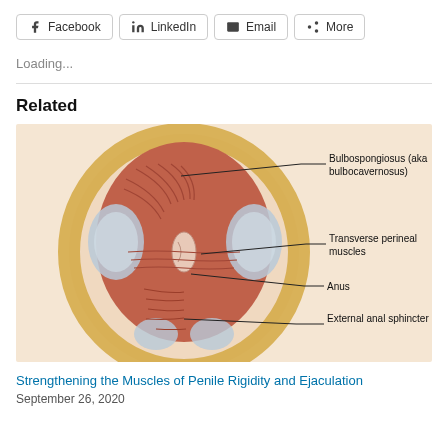Facebook  LinkedIn  Email  More
Loading...
Related
[Figure (illustration): Medical anatomical illustration of male perineal muscles (inferior view), labeled with lines pointing to: Bulbospongiosus (aka bulbocavernosus), Transverse perineal muscles, Anus, External anal sphincter. The illustration shows layered musculature in red/orange tones with light blue highlights and a skin-toned background.]
Strengthening the Muscles of Penile Rigidity and Ejaculation
September 26, 2020